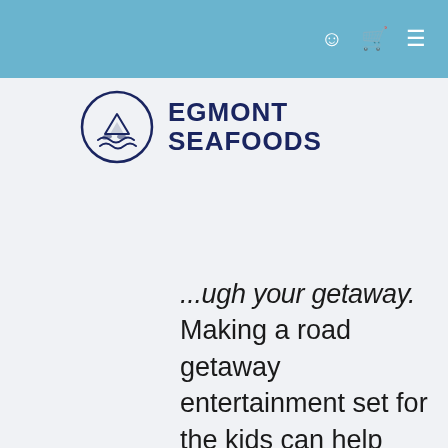[Figure (logo): Egmont Seafoods logo: circular emblem with fish and waves, beside bold text 'EGMONT SEAFOODS']
...through your getaway. Making a road getaway entertainment set for the kids can help make certain your loved ones trip is really a fantasy rather than a problem. There is absolutely no much better approach to begin to see the land when compared to a street journey. However, it is essential